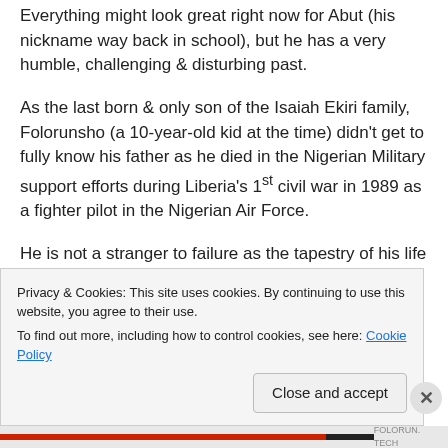Everything might look great right now for Abut (his nickname way back in school), but he has a very humble, challenging & disturbing past.
As the last born & only son of the Isaiah Ekiri family, Folorunsho (a 10-year-old kid at the time) didn't get to fully know his father as he died in the Nigerian Military support efforts during Liberia's 1st civil war in 1989 as a fighter pilot in the Nigerian Air Force.
He is not a stranger to failure as the tapestry of his life is woven in rose & thorn stories from early childhood to date. He considered his misfortune when he lost his father at that early age as he was looking to becoming a military
Privacy & Cookies: This site uses cookies. By continuing to use this website, you agree to their use.
To find out more, including how to control cookies, see here: Cookie Policy
Close and accept